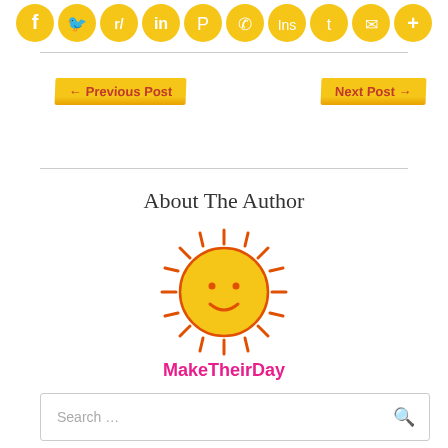[Figure (illustration): Row of 10 golden/yellow circular social media share buttons: Facebook, Twitter, Reddit, LinkedIn, Pinterest, WhatsApp, Instagram, Tumblr, Email, More]
← Previous Post
Next Post →
About The Author
[Figure (illustration): Circular yellow avatar image of a smiling cartoon sun with orange rays and a happy face]
MakeTheirDay
Search ...